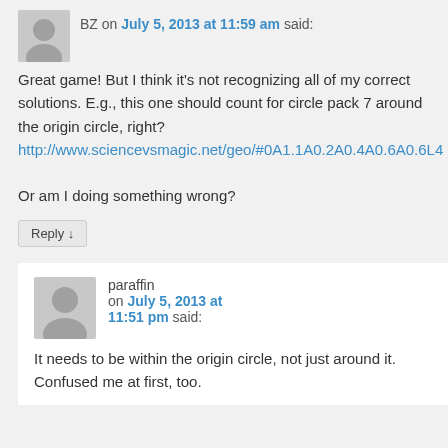BZ on July 5, 2013 at 11:59 am said:
Great game! But I think it's not recognizing all of my correct solutions. E.g., this one should count for circle pack 7 around the origin circle, right?
http://www.sciencevsmagic.net/geo/#0A1.1A0.2A0.4A0.6A0.6L4
Or am I doing something wrong?
Reply ↓
paraffin on July 5, 2013 at 11:51 pm said:
It needs to be within the origin circle, not just around it. Confused me at first, too.